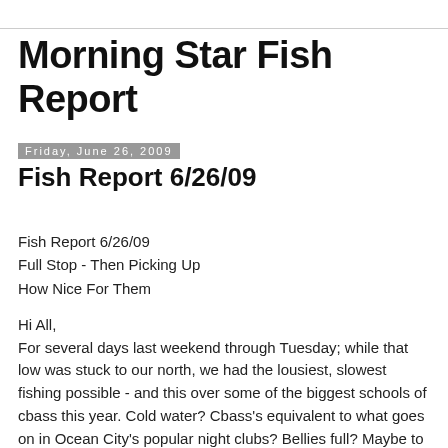Morning Star Fish Report
Friday, June 26, 2009
Fish Report 6/26/09
Fish Report 6/26/09
Full Stop - Then Picking Up
How Nice For Them
Hi All,
For several days last weekend through Tuesday; while that low was stuck to our north, we had the lousiest, slowest fishing possible - and this over some of the biggest schools of cbass this year. Cold water? Cbass's equivalent to what goes on in Ocean City's popular night clubs? Bellies full? Maybe to all of them: Ripping current from the NE had to be colder; Colors of male cbass very bright - spawning time coming or happening; Fish were at times 50 to 60 feet off the bottom - indicative of krill & plankton feeding.